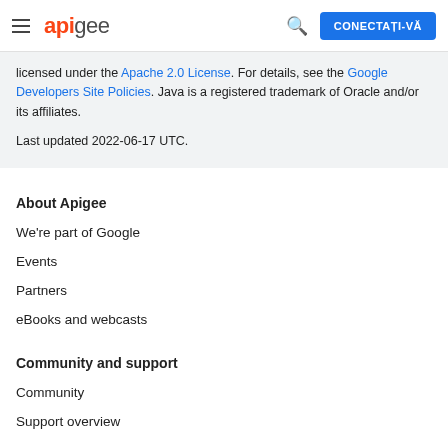apigee — CONECTAȚI-VĂ
licensed under the Apache 2.0 License. For details, see the Google Developers Site Policies. Java is a registered trademark of Oracle and/or its affiliates.

Last updated 2022-06-17 UTC.
About Apigee
We're part of Google
Events
Partners
eBooks and webcasts
Community and support
Community
Support overview